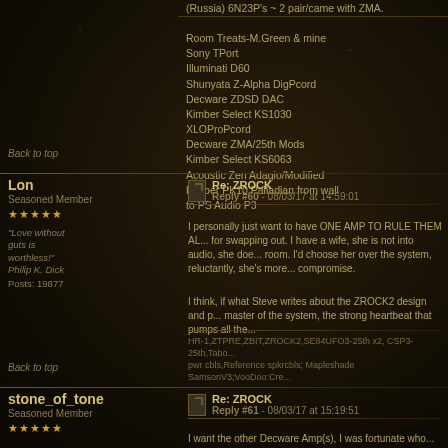(Russia) 6N23P's ~ 2 pair/came with ZMA.
Room Treats-M.Green & mine
Sony TPort
Illuminati D60
Shunyata Z-Alpha DigPcord
Decware ZDSD DAC
Kimber Select KS1030
XLOProPcord
Decware ZMA/25th Mods
Kimber Select KS6063
Acoustic Zen Adagio/Modified
Kimber PK10 Palladian from wall
to PS Audio P3
Back to top
Lon
Seasoned Member
"Love without guts is worthless!" Philip K. Dick
Posts: 19877
Re: ZROCK
Reply #60 - 08/03/17 at 14:59:01
I personally just want to have ONE AMP TO RULE THEM ALL, not for swapping out. I have a wife, she is not into audio, she does love the room. I'd choose her over the system, reluctantly, she's more of a compromise.
I think, if what Steve writes about the ZROCK2 design and p... master of the system, the strong heartbeat that pumps all the...
HR-1,ZTPRE,ZBIT,ZROCK2,SE84UFO3-25th x2, CSP3-25th,Tabo... pwr cbls,Reference spkrcbls; Mapleshade SamsonV3;VooDoo:Cre...
Back to top
stone_of_tone
Seasoned Member
Re: ZROCK
Reply #61 - 08/03/17 at 15:19:51
I want the other Decware Amp(s), I was fortunate who...